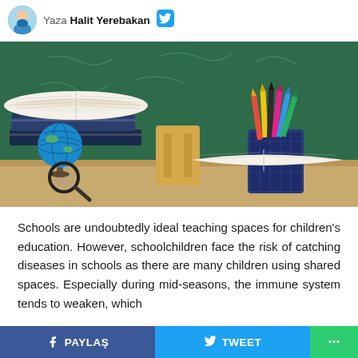Yaza Halit Yerebakan
[Figure (photo): A school desk scene with stacked books, an open book, a globe, colored pencils in a blue mesh holder, a magnifying glass, and a green chalkboard background.]
Schools are undoubtedly ideal teaching spaces for children's education. However, schoolchildren face the risk of catching diseases in schools as there are many children using shared spaces. Especially during mid-seasons, the immune system tends to weaken, which
PAYLAŞ   TWEET   ...